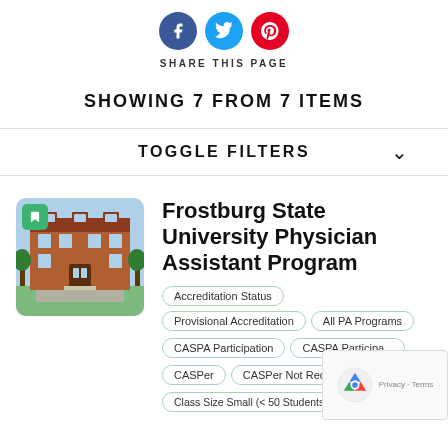[Figure (illustration): Three social media share icons: Facebook (dark blue circle with f), Twitter (light blue circle with bird), Pinterest (red circle with P)]
SHARE THIS PAGE
SHOWING 7 FROM 7 ITEMS
TOGGLE FILTERS
[Figure (photo): Photo of Frostburg State University brick building with a green bookmark icon in the top left corner]
Frostburg State University Physician Assistant Program
Accreditation Status
Provisional Accreditation
All PA Programs
CASPA Participation
CASPA Participation
CASPer
CASPer Not Required
Class Size Small (< 50 Students)